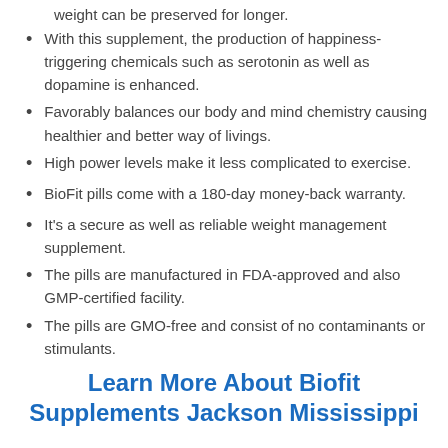weight can be preserved for longer.
With this supplement, the production of happiness-triggering chemicals such as serotonin as well as dopamine is enhanced.
Favorably balances our body and mind chemistry causing healthier and better way of livings.
High power levels make it less complicated to exercise.
BioFit pills come with a 180-day money-back warranty.
It's a secure as well as reliable weight management supplement.
The pills are manufactured in FDA-approved and also GMP-certified facility.
The pills are GMO-free and consist of no contaminants or stimulants.
Learn More About Biofit Supplements Jackson Mississippi